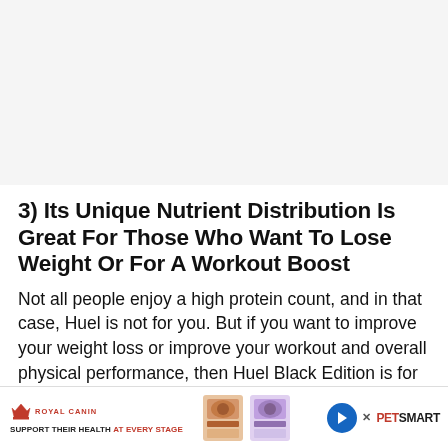[Figure (other): Blank light gray area at top of page, approximately 185px tall]
3) Its Unique Nutrient Distribution Is Great For Those Who Want To Lose Weight Or For A Workout Boost
Not all people enjoy a high protein count, and in that case, Huel is not for you. But if you want to improve your weight loss or improve your workout and overall physical performance, then Huel Black Edition is for you. After all, their formula is actually use... their per...
[Figure (other): Royal Canin advertisement banner at the bottom: Royal Canin logo on the left with tagline SUPPORT THEIR HEALTH AT EVERY STAGE, cat food product images in the center, PetSmart logo and play/close buttons on the right]